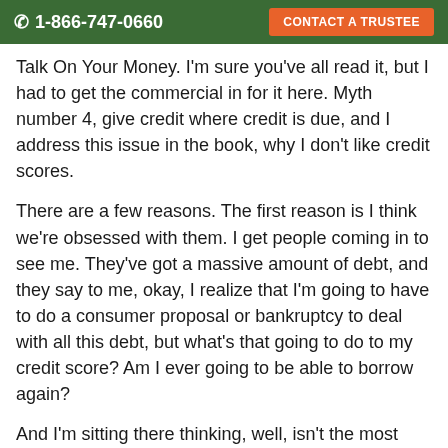☎ 1-866-747-0660   CONTACT A TRUSTEE
Talk On Your Money. I'm sure you've all read it, but I had to get the commercial in for it here. Myth number 4, give credit where credit is due, and I address this issue in the book, why I don't like credit scores.
There are a few reasons. The first reason is I think we're obsessed with them. I get people coming in to see me. They've got a massive amount of debt, and they say to me, okay, I realize that I'm going to have to do a consumer proposal or bankruptcy to deal with all this debt, but what's that going to do to my credit score? Am I ever going to be able to borrow again?
And I'm sitting there thinking, well, isn't the most important thing to deal with the debt rather than worrying about the future of being able to borrow again? Obviously, in a consumer proposal or a bankruptcy, once your debts is